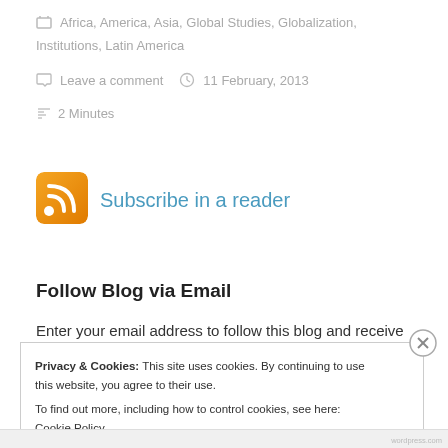Africa, America, Asia, Global Studies, Globalization, Institutions, Latin America
Leave a comment   11 February, 2013
2 Minutes
Subscribe in a reader
Follow Blog via Email
Enter your email address to follow this blog and receive
Privacy & Cookies: This site uses cookies. By continuing to use this website, you agree to their use.
To find out more, including how to control cookies, see here: Cookie Policy
Close and accept